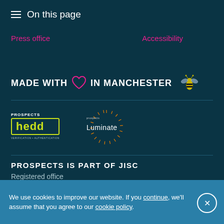≡ On this page
Press office    Accessibility
[Figure (logo): MADE WITH [heart] IN MANCHESTER [bee icon] text logo]
[Figure (logo): Prospects Hedd verification and authentication logo]
[Figure (logo): Prospects Luminate logo with sunburst graphic]
PROSPECTS IS PART OF JISC
Registered office
We use cookies to improve our website. If you continue, we'll assume that you agree to our cookie policy.